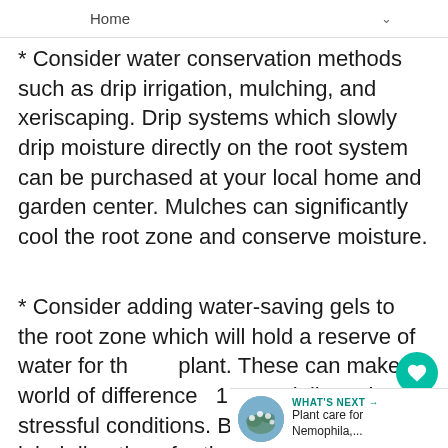Home
* Consider water conservation methods such as drip irrigation, mulching, and xeriscaping. Drip systems which slowly drip moisture directly on the root system can be purchased at your local home and garden center. Mulches can significantly cool the root zone and conserve moisture.
* Consider adding water-saving gels to the root zone which will hold a reserve of water for the plant. These can make a world of difference especially under stressful conditions. Be certain to follow label directions for their use.